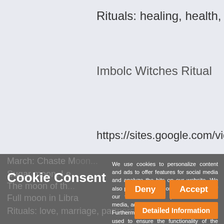Rituals: healing, health, wellbeing
Imbolc Witches Ritual
https://sites.google.com/view/imbolc
Cookie Consent
We use cookies to personalize content and ads to offer features for social media and analyze the hits on our website. We also provide information about your use of our website to our partner for social media, advertising and analysis continues. Furthermore, purely technical cookies are used to ensure the functionality of the website, these cannot be deactivated.
March: Chaste Moon
Sugar moon, Len...
The moon of th...
Full moon in Libra
Rituals: love, marriage, partnership, harmony, s...